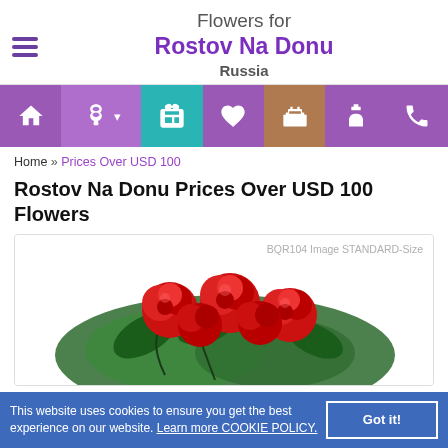Flowers for Rostov Na Donu Russia
[Figure (illustration): Navigation bar with icons: home, bouquet/flowers with dropdown caret, gift box (teal background), chocolate heart box, wedding cake (brown background), perfume bottle, phone]
Home » Prices Over USD 100
Rostov Na Donu Prices Over USD 100 Flowers
[Figure (photo): BQR104 Image STANDARD-Size — photo of red roses bouquet with green foliage]
This website uses cookies to ensure you get the best experience on our website. Learn more COOKIE POLICY. Got it!